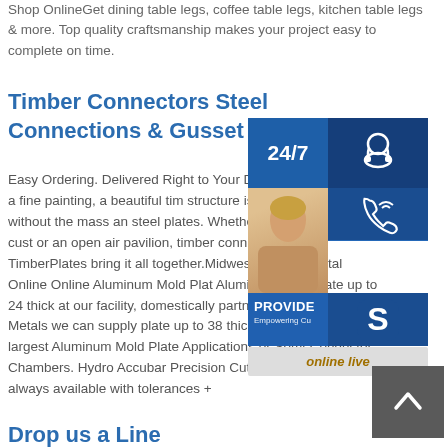Shop OnlineGet dining table legs, coffee table legs, kitchen table legs & more. Top quality craftsmanship makes your project easy to complete on time.
Timber Connectors Steel Connections & Gusset P
Easy Ordering. Delivered Right to Your Door. Like a frame on a fine painting, a beautiful timber structure is not complete without the mass and steel plates. Whether you are building a custom or an open air pavilion, timber connector plates TimberPlates bring it all together.Midwest Steel Buy Metal Online Online Aluminum Mold Plate Aluminum Mold Plate up to 24 thick at our facility, domestically partnered with Vista Metals we can supply plate up to 38 thick and 94 wide for the largest Aluminum Mold Plate Applications or Semi-Conductor Chambers. Hydro Accubar Precision Cut Precision cutting is always available with tolerances +
[Figure (infographic): Overlay widget panel with 24/7 label, customer service icons (headset, phone, Skype), a person with headset photo, PROVIDE Empowering Customers text, and online live button]
[Figure (other): Back to top button with upward chevron arrow, dark gray square]
Drop us a Line